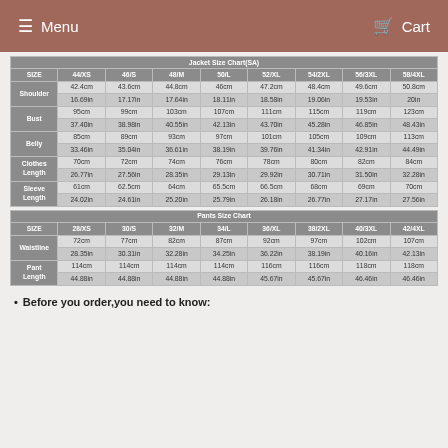Menu   Cart
| SIZE | 44/XS | 46/S | 48/M | 50/L | 52/XL | 54/2XL | 56/3XL | 58/4XL |
| --- | --- | --- | --- | --- | --- | --- | --- | --- |
| Shoulder | 42.4cm | 43.6cm | 44.8cm | 46cm | 47.2cm | 48.4cm | 49.6cm | 50.8cm |
|  | 16.69in | 17.17in | 17.64in | 18.11in | 18.58in | 19.06in | 19.53in | 20in |
| Bust | 95cm | 99cm | 103cm | 107cm | 111cm | 115cm | 119cm | 123cm |
|  | 37.40in | 38.98in | 40.55in | 42.13in | 43.70in | 45.28in | 46.85in | 48.43in |
| Belly | 85cm | 89cm | 93cm | 97cm | 101cm | 105cm | 109cm | 113cm |
|  | 33.46in | 35.04in | 36.61in | 38.19in | 39.76in | 41.34in | 42.91in | 44.49in |
| Clothes Length | 70cm | 72cm | 74cm | 76cm | 78cm | 80cm | 82cm | 84cm |
|  | 26.77in | 27.56in | 28.35in | 29.13in | 29.92in | 30.71in | 31.50in | 32.28in |
| Sleeve Length | 61cm | 62.5cm | 64cm | 65.5cm | 66.5cm | 68cm | 69cm | 70cm |
|  | 24.02in | 24.61in | 25.20in | 25.79in | 26.18in | 26.77in | 27.17in | 27.56in |
| SIZE | 28/XS | 30/S | 32/M | 34/L | 36/XL | 38/2XL | 40/3XL | 42/4XL |
| --- | --- | --- | --- | --- | --- | --- | --- | --- |
| Waistline | 72cm | 77cm | 82cm | 87cm | 92cm | 97cm | 102cm | 107cm |
|  | 28.35in | 30.31in | 32.28in | 34.25in | 36.22in | 38.19in | 40.16in | 42.13in |
| Pant Length | 114cm | 114cm | 114cm | 114cm | 116cm | 116cm | 118cm | 118cm |
|  | 44.88in | 44.88in | 44.88in | 44.88in | 45.67in | 45.67in | 46.46in | 46.46in |
Before you order,you need to know: